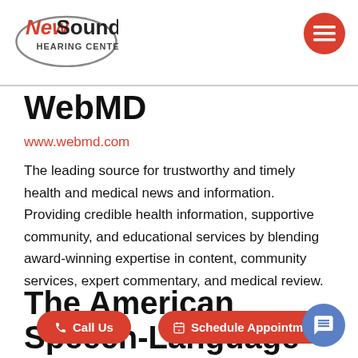NewSound Hearing Centers
WebMD
www.webmd.com
The leading source for trustworthy and timely health and medical news and information. Providing credible health information, supportive community, and educational services by blending award-winning expertise in content, community services, expert commentary, and medical review.
The American Speech-Language-Hearing Association